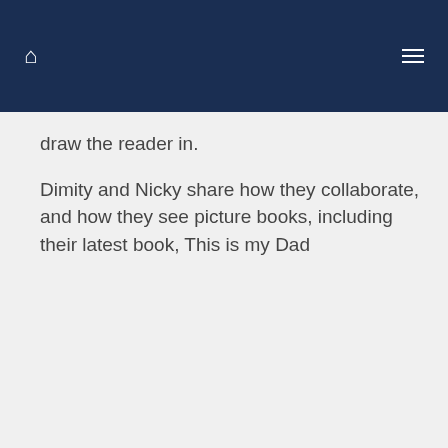draw the reader in.
Dimity and Nicky share how they collaborate, and how they see picture books, including their latest book, This is my Dad